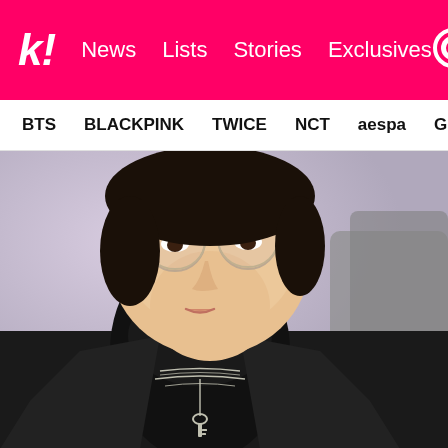k! News Lists Stories Exclusives [search]
BTS  BLACKPINK  TWICE  NCT  aespa  Girls' Generation
[Figure (photo): Close-up portrait of a young Asian man wearing round wire-frame glasses, small hoop earring, black turtleneck sweater, black coat, and layered silver necklaces with a key pendant. Blurred pastel background with another person partially visible on the right in a gray jacket.]